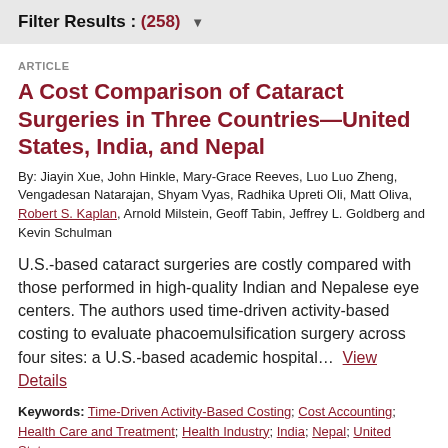Filter Results : (258)
ARTICLE
A Cost Comparison of Cataract Surgeries in Three Countries—United States, India, and Nepal
By: Jiayin Xue, John Hinkle, Mary-Grace Reeves, Luo Luo Zheng, Vengadesan Natarajan, Shyam Vyas, Radhika Upreti Oli, Matt Oliva, Robert S. Kaplan, Arnold Milstein, Geoff Tabin, Jeffrey L. Goldberg and Kevin Schulman
U.S.-based cataract surgeries are costly compared with those performed in high-quality Indian and Nepalese eye centers. The authors used time-driven activity-based costing to evaluate phacoemulsification surgery across four sites: a U.S.-based academic hospital... View Details
Keywords: Time-Driven Activity-Based Costing; Cost Accounting; Health Care and Treatment; Health Industry; India; Nepal; United States